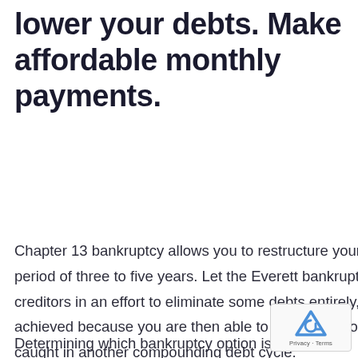lower your debts. Make affordable monthly payments.
Chapter 13 bankruptcy allows you to restructure your debt so that it is possible for you to pay it back over a period of three to five years. Let the Everett bankruptcy lawyers at our offices handle negotiations with your creditors in an effort to eliminate some debts entirely, or have them dramatically reduced. Financial health is achieved because you are then able to make the monthly payments without falling behind and getting caught in another compounding debt cycle.
Determining which bankruptcy option is right for